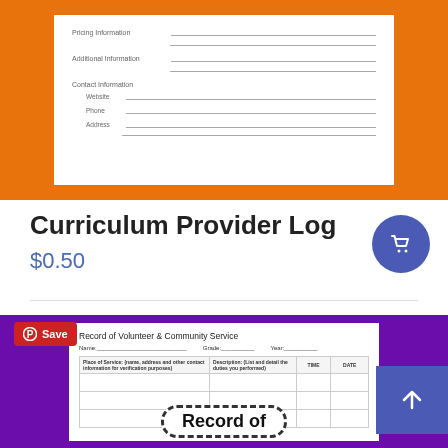[Figure (screenshot): Top product thumbnail showing a white form document with orange background. Fields include Pricing Information, Additional Information, Contact Information (Website, Phone, Address) with blank lines.]
Curriculum Provider Log
$0.50
[Figure (screenshot): Bottom product thumbnail showing a Record of Volunteer & Community Service form with purple background. Form has Name, Grade, Year fields and a table with columns for organization, hours, duties. Large bold text at bottom reads 'Record of'. Has a Save Pinterest button and a blue up-arrow button.]